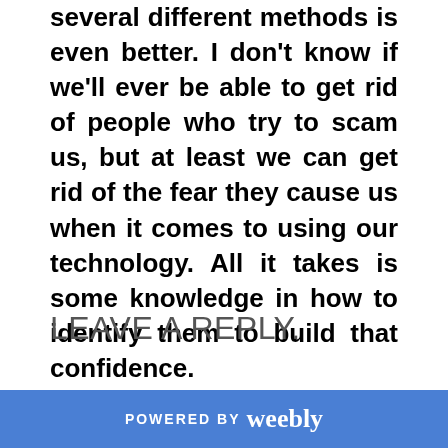several different methods is even better. I don't know if we'll ever be able to get rid of people who try to scam us, but at least we can get rid of the fear they cause us when it comes to using our technology. All it takes is some knowledge in how to identify them to build that confidence.
LEAVE A REPLY.
POWERED BY weebly